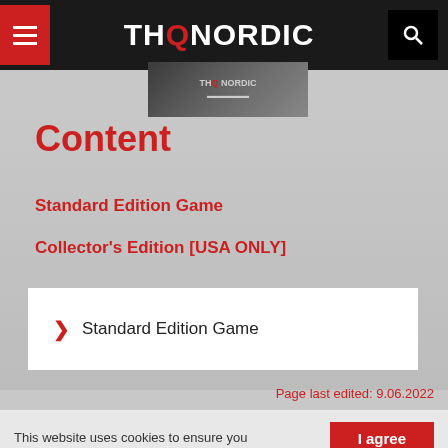THQ Nordic
Content
Standard Edition Game
Collector's Edition [USA ONLY]
Standard Edition Game
Page last edited: 9.06.2022
This website uses cookies to ensure you get the best experience on our website.
I agree
More info